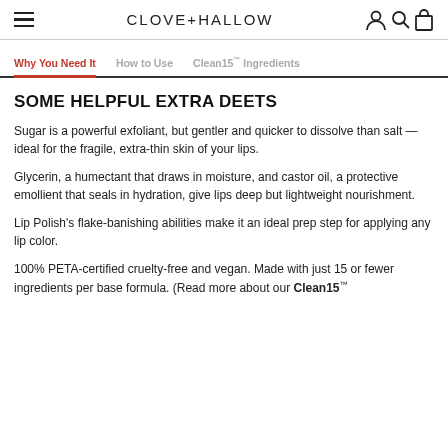CLOVE+HALLOW
Why You Need It | How to Use | Clean15™ Ingredients
SOME HELPFUL EXTRA DEETS
Sugar is a powerful exfoliant, but gentler and quicker to dissolve than salt —ideal for the fragile, extra-thin skin of your lips.
Glycerin, a humectant that draws in moisture, and castor oil, a protective emollient that seals in hydration, give lips deep but lightweight nourishment.
Lip Polish's flake-banishing abilities make it an ideal prep step for applying any lip color.
100% PETA-certified cruelty-free and vegan. Made with just 15 or fewer ingredients per base formula. (Read more about our Clean15™